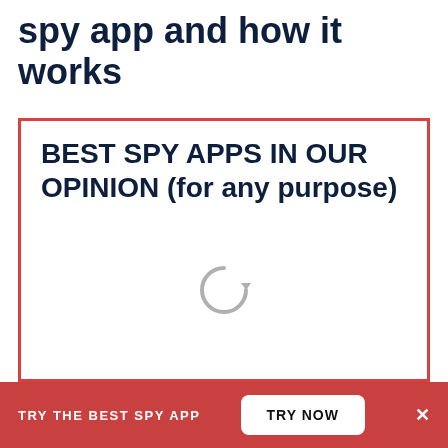iPhone Spy App: Defining a spy app and how it works
BEST SPY APPS IN OUR OPINION (for any purpose)
[Figure (other): Loading spinner icon (circular arrow in gray) inside a red-bordered white box]
TRY THE BEST SPY APP
TRY NOW